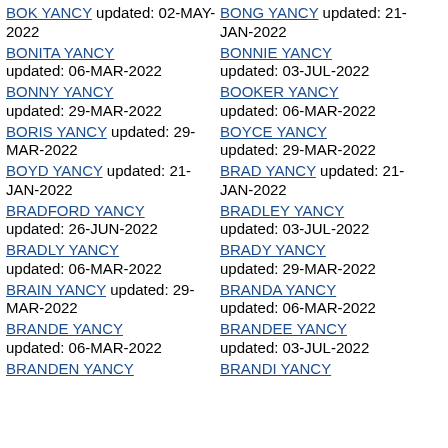BOK YANCY updated: 02-MAY-2022
BONG YANCY updated: 21-JAN-2022
BONITA YANCY updated: 06-MAR-2022
BONNIE YANCY updated: 03-JUL-2022
BONNY YANCY updated: 29-MAR-2022
BOOKER YANCY updated: 06-MAR-2022
BORIS YANCY updated: 29-MAR-2022
BOYCE YANCY updated: 29-MAR-2022
BOYD YANCY updated: 21-JAN-2022
BRAD YANCY updated: 21-JAN-2022
BRADFORD YANCY updated: 26-JUN-2022
BRADLEY YANCY updated: 03-JUL-2022
BRADLY YANCY updated: 06-MAR-2022
BRADY YANCY updated: 29-MAR-2022
BRAIN YANCY updated: 29-MAR-2022
BRANDA YANCY updated: 06-MAR-2022
BRANDE YANCY updated: 06-MAR-2022
BRANDEE YANCY updated: 03-JUL-2022
BRANDEN YANCY
BRANDI YANCY